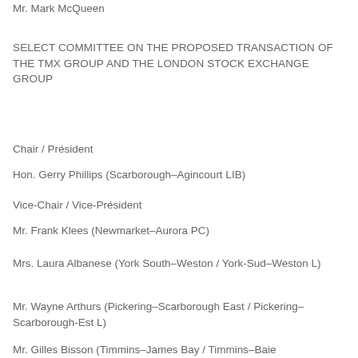Mr. Mark McQueen
SELECT COMMITTEE ON THE PROPOSED TRANSACTION OF THE TMX GROUP AND THE LONDON STOCK EXCHANGE GROUP
Chair / Président
Hon. Gerry Phillips (Scarborough–Agincourt LIB)
Vice-Chair / Vice-Président
Mr. Frank Klees (Newmarket–Aurora PC)
Mrs. Laura Albanese (York South–Weston / York-Sud–Weston L)
Mr. Wayne Arthurs (Pickering–Scarborough East / Pickering–Scarborough-Est L)
Mr. Gilles Bisson (Timmins–James Bay / Timmins–Baie